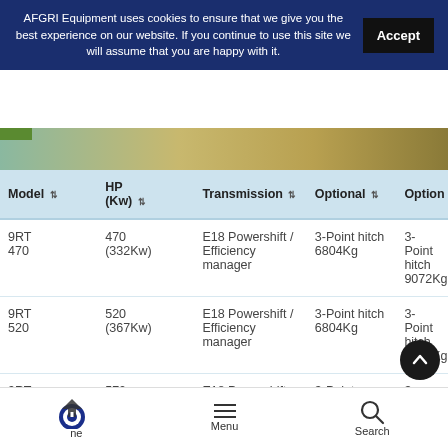AFGRI Equipment uses cookies to ensure that we give you the best experience on our website. If you continue to use this site we will assume that you are happy with it.
| Model | HP (Kw) | Transmission | Optional | Option |
| --- | --- | --- | --- | --- |
| 9RT 470 | 470 (332Kw) | E18 Powershift / Efficiency manager | 3-Point hitch 6804Kg | 3-Point hitch 9072Kg |
| 9RT 520 | 520 (367Kw) | E18 Powershift / Efficiency manager | 3-Point hitch 6804Kg | 3-Point hitch 9072Kg |
| 9RT 570 | 570 (402Kw) | E18 Powershift / Efficiency manager | 3-Point hitch | 3-Point hitch |
Home   Menu   Search